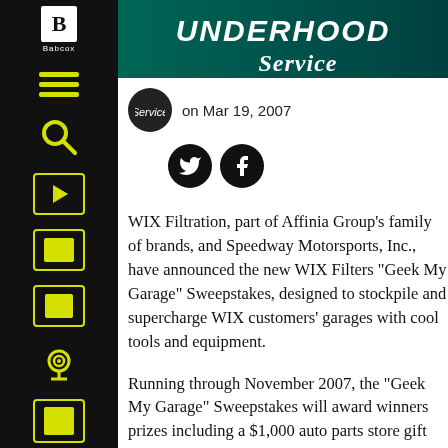UNDERHOOD Service
on Mar 19, 2007
WIX Filtration, part of Affinia Group’s family of brands, and Speedway Motorsports, Inc., have announced the new WIX Filters “Geek My Garage” Sweepstakes, designed to stockpile and supercharge WIX customers’ garages with cool tools and equipment.
Running through November 2007, the “Geek My Garage” Sweepstakes will award winners prizes including a $1,000 auto parts store gift certificate